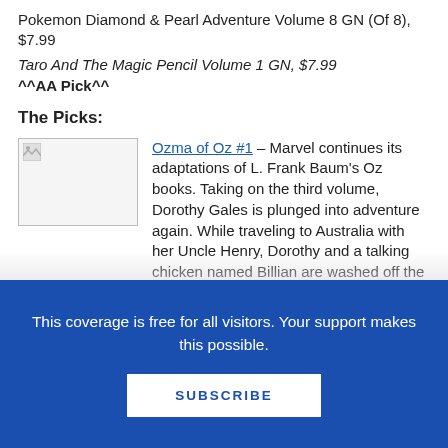Pokemon Diamond & Pearl Adventure Volume 8 GN (Of 8), $7.99
Taro And The Magic Pencil Volume 1 GN, $7.99
^^AA Pick^^
The Picks:
[Figure (photo): Broken image placeholder thumbnail]
Ozma of Oz #1 – Marvel continues its adaptations of L. Frank Baum's Oz books. Taking on the third volume, Dorothy Gales is plunged into adventure again. While traveling to Australia with her Uncle Henry, Dorothy and a talking chicken named Billian are washed off the ship, only
This coverage is free for all visitors. Your support makes this possible.
SUBSCRIBE